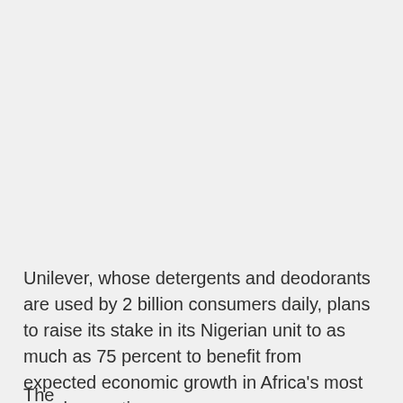Unilever, whose detergents and deodorants are used by 2 billion consumers daily, plans to raise its stake in its Nigerian unit to as much as 75 percent to benefit from expected economic growth in Africa's most populous nation.
The...